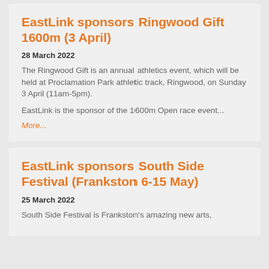EastLink sponsors Ringwood Gift 1600m (3 April)
28 March 2022
The Ringwood Gift is an annual athletics event, which will be held at Proclamation Park athletic track, Ringwood, on Sunday 3 April (11am-5pm).
EastLink is the sponsor of the 1600m Open race event...
More...
EastLink sponsors South Side Festival (Frankston 6-15 May)
25 March 2022
South Side Festival is Frankston's amazing new arts,